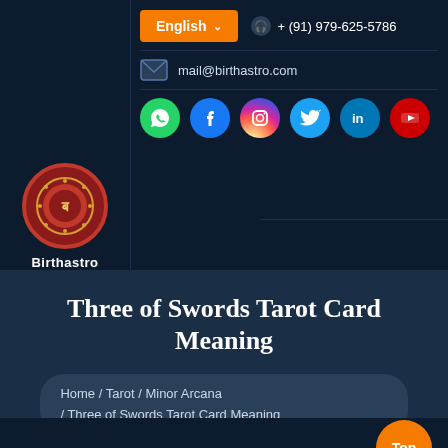English  + (91) 979-625-5786
mail@birthastro.com
Birthastro - Social icons: WhatsApp, Facebook, Instagram, Twitter, LinkedIn, YouTube
Three of Swords Tarot Card Meaning
Home / Tarot / Minor Arcana / Three of Swords Tarot Card Meaning